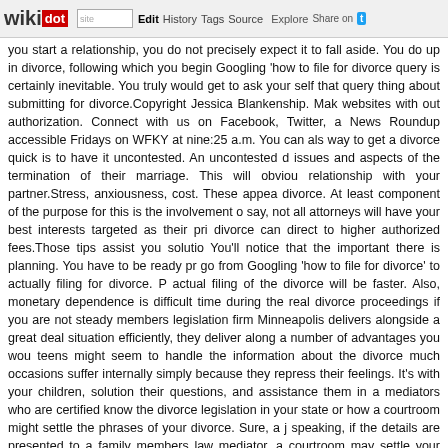wikidot | site | Edit | History | Tags | Source | Explore | Share on [Twitter]
you start a relationship, you do not precisely expect it to fall aside. You do up in divorce, following which you begin Googling 'how to file for divorce query is certainly inevitable. You truly would get to ask your self that query thing about submitting for divorce.Copyright Jessica Blankenship. Make websites with out authorization. Connect with us on Facebook, Twitter, ar News Roundup accessible Fridays on WFKY at nine:25 a.m. You can als way to get a divorce quick is to have it uncontested. An uncontested d issues and aspects of the termination of their marriage. This will obviou relationship with your partner.Stress, anxiousness, cost. These appea divorce. At least component of the purpose for this is the involvement of say, not all attorneys will have your best interests targeted as their prin divorce can direct to higher authorized fees.Those tips assist you solutio You'll notice that the important there is planning. You have to be ready pri go from Googling 'how to file for divorce' to actually filing for divorce. Pr actual filing of the divorce will be faster. Also, monetary dependence is difficult time during the real divorce proceedings if you are not steady members legislation firm Minneapolis delivers alongside a great deal d situation efficiently, they deliver along a number of advantages you wou teens might seem to handle the information about the divorce much occasions suffer internally simply because they repress their feelings. It's with your children, solution their questions, and assistance them in ar mediators who are certified know the divorce legislation in your state or how a courtroom might settle the phrases of your divorce. Sure, a j speaking, if the details are presented to a family members law mediator, a courtroom may settle your divorce terms.You can file for divorce wit courthouse and filling out the right paperwork. If you want to be sure tha to do is to hire a lawyer to file the papers for you.That deal with family r Minneapolis will have a quantity of attorneys operating for them. If you h method any of those in your area. Most reputed legislation firms